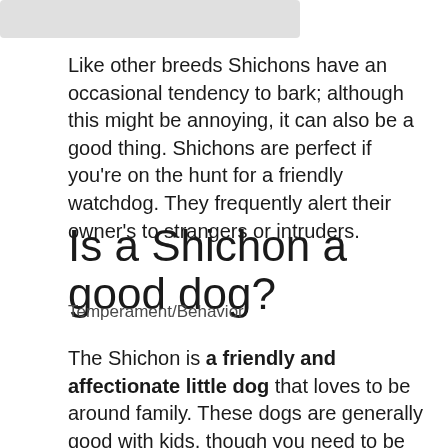[Figure (photo): Partially visible image at the top of the page, appears to be cropped]
Like other breeds Shichons have an occasional tendency to bark; although this might be annoying, it can also be a good thing. Shichons are perfect if you're on the hunt for a friendly watchdog. They frequently alert their owner's to strangers or intruders.
Is a Shichon a good dog?
Temperament/Behavior
The Shichon is a friendly and affectionate little dog that loves to be around family. These dogs are generally good with kids, though you need to be sure that your children know how to handle a small dog